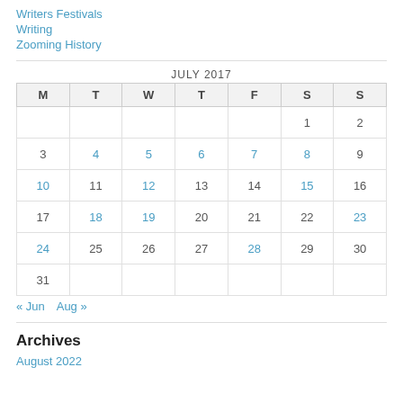Writers Festivals
Writing
Zooming History
| M | T | W | T | F | S | S |
| --- | --- | --- | --- | --- | --- | --- |
|  |  |  |  |  | 1 | 2 |
| 3 | 4 | 5 | 6 | 7 | 8 | 9 |
| 10 | 11 | 12 | 13 | 14 | 15 | 16 |
| 17 | 18 | 19 | 20 | 21 | 22 | 23 |
| 24 | 25 | 26 | 27 | 28 | 29 | 30 |
| 31 |  |  |  |  |  |  |
« Jun   Aug »
Archives
August 2022